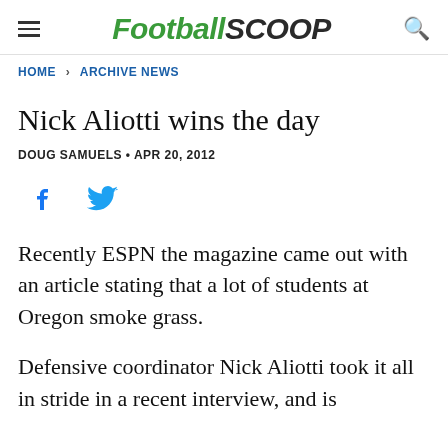FootballScoop
HOME > ARCHIVE NEWS
Nick Aliotti wins the day
DOUG SAMUELS • APR 20, 2012
[Figure (other): Facebook and Twitter share icons]
Recently ESPN the magazine came out with an article stating that a lot of students at Oregon smoke grass.
Defensive coordinator Nick Aliotti took it all in stride in a recent interview, and is